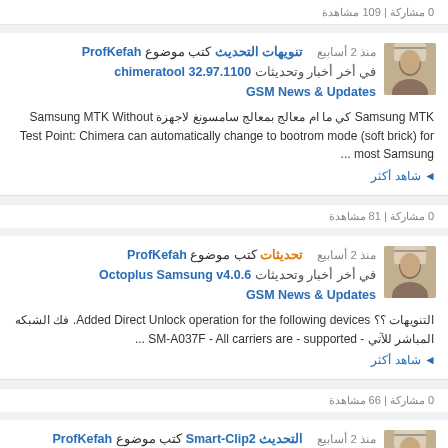0 مشاركة | 109 مشاهدة
ProfKefah كتب موضوع تنويهات التحديث chimeratool 32.97.1100 في أخر أخبار وتحديثات GSM News & Updates منذ 2 أسابيع
Samsung MTK كي ما ام معالج بمعالج سامسونغ لاجهزة Samsung MTK Without Test Point. Chimera can automatically change to bootrom mode (soft brick) for most Samsung...
◄ شاهد أكثر
0 مشاركة | 81 مشاهدة
ProfKefah كتب موضوع تحديثات Octoplus Samsung v4.0.6 في أخر أخبار وتحديثات GSM News & Updates منذ 2 أسابيع
التنويهات ؟؟ Added Direct Unlock operation for the following devices. فك الشبكه المباشر للآتي - SM-A037F - All carriers are - supported ...
◄ شاهد أكثر
0 مشاركة | 66 مشاهدة
ProfKefah كتب موضوع التحديث Smart-Clip2 version 1.45.03 — في أخر أخبار وتحديثات GSM News & Updates منذ 2 أسابيع